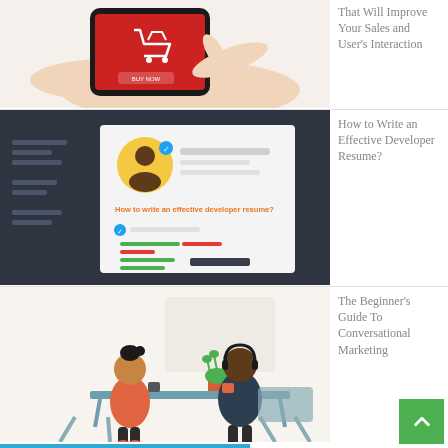[Figure (illustration): Hand holding a smartphone with a red screen showing a shopping cart icon and 'BUY NOW' button]
That Will Improve Your Sales and User's Interaction
[Figure (illustration): Dark background with a resume document showing a cartoon developer profile, skills bars in green and red, and text 'How to write an effective developer resume?']
How to Write an Effective Developer Resume?
[Figure (illustration): Two people sitting at a table having a conversation with a speech bubble containing dots, a plant in the center]
The Beginner's Guide To Conversational Marketing
Why It Is No...